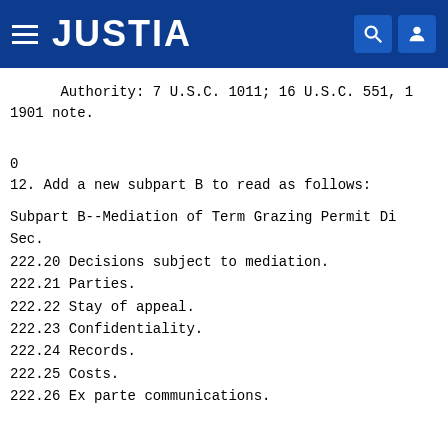JUSTIA
Authority: 7 U.S.C. 1011; 16 U.S.C. 551, 1
1901 note.
0
12. Add a new subpart B to read as follows:
Subpart B--Mediation of Term Grazing Permit Di
Sec.
222.20 Decisions subject to mediation.
222.21 Parties.
222.22 Stay of appeal.
222.23 Confidentiality.
222.24 Records.
222.25 Costs.
222.26 Ex parte communications.